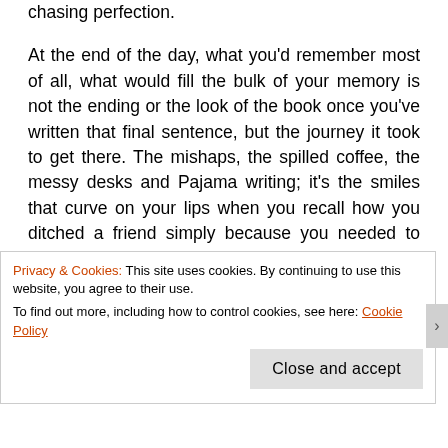chasing perfection.
At the end of the day, what you'd remember most of all, what would fill the bulk of your memory is not the ending or the look of the book once you've written that final sentence, but the journey it took to get there. The mishaps, the spilled coffee, the messy desks and Pajama writing; it's the smiles that curve on your lips when you recall how you ditched a friend simply because you needed to edit that first horrible draft; it's the days when the muse decides to be your best friend and you write for all you are worth and
Privacy & Cookies: This site uses cookies. By continuing to use this website, you agree to their use.
To find out more, including how to control cookies, see here: Cookie Policy
Close and accept